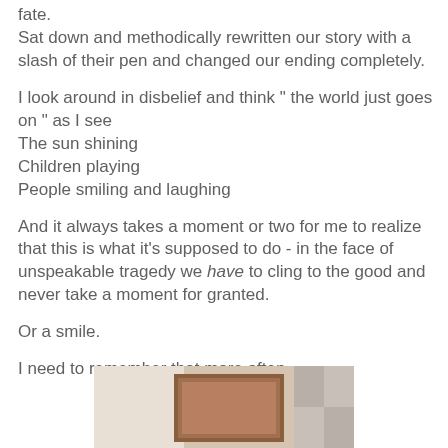fate.
Sat down and methodically rewritten our story with a slash of their pen and changed our ending completely.
I look around in disbelief and think " the world just goes on " as I see
The sun shining
Children playing
People smiling and laughing
And it always takes a moment or two for me to realize that this is what it's supposed to do - in the face of unspeakable tragedy we have to cling to the good and never take a moment for granted.
Or a smile.
I need to remember that more often.
[Figure (photo): A photograph partially visible at the bottom of the page, showing what appears to be a framed photo on a table with a checkered background]